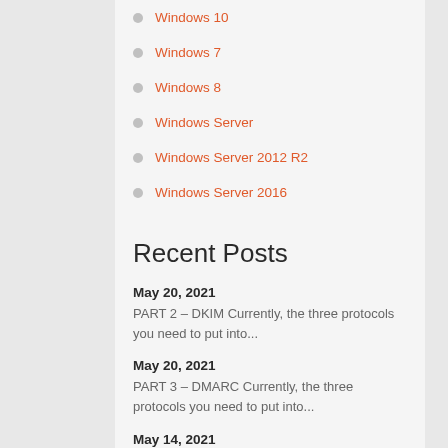Windows 10
Windows 7
Windows 8
Windows Server
Windows Server 2012 R2
Windows Server 2016
Recent Posts
May 20, 2021
PART 2 – DKIM Currently, the three protocols you need to put into...
May 20, 2021
PART 3 – DMARC Currently, the three protocols you need to put into...
May 14, 2021
Here is a real world example of the danger and consequences of ransomware....